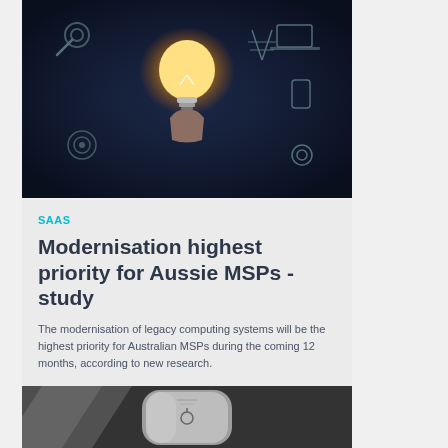[Figure (photo): Dark background technology image with a glowing light bulb being held by a hand, surrounded by technology and gear icons]
SAAS
Modernisation highest priority for Aussie MSPs - study
The modernisation of legacy computing systems will be the highest priority for Australian MSPs during the coming 12 months, according to new research.
[Figure (photo): Dark product image showing a sleek cylindrical silver/grey device against a dark background with diagonal light stripes]